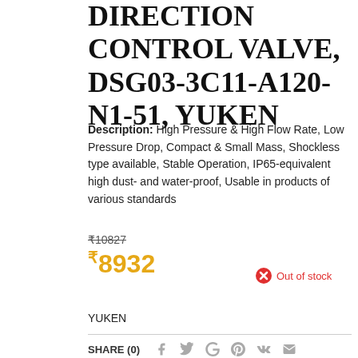DIRECTION CONTROL VALVE, DSG03-3C11-A120-N1-51, YUKEN
Description: High Pressure & High Flow Rate, Low Pressure Drop, Compact & Small Mass, Shockless type available, Stable Operation, IP65-equivalent high dust- and water-proof, Usable in products of various standards
₹10827
₹8932  Out of stock
YUKEN
SHARE (0)